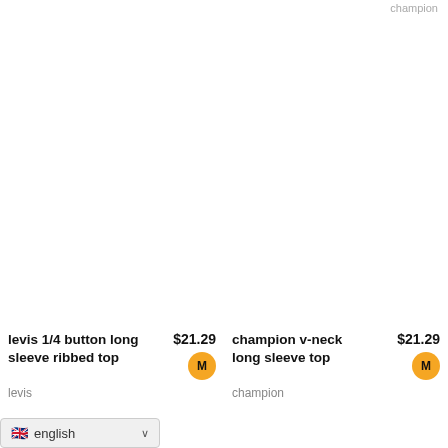champion
levis 1/4 button long sleeve ribbed top
$21.29
M
levis
champion v-neck long sleeve top
$21.29
M
champion
english